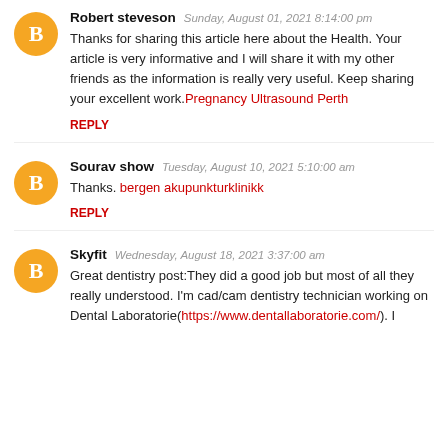Robert steveson  Sunday, August 01, 2021 8:14:00 pm
Thanks for sharing this article here about the Health. Your article is very informative and I will share it with my other friends as the information is really very useful. Keep sharing your excellent work. Pregnancy Ultrasound Perth
REPLY
Sourav show  Tuesday, August 10, 2021 5:10:00 am
Thanks. bergen akupunkturklinikk
REPLY
Skyfit  Wednesday, August 18, 2021 3:37:00 am
Great dentistry post:They did a good job but most of all they really understood. I'm cad/cam dentistry technician working on Dental Laboratorie(https://www.dentallaboratorie.com/). I